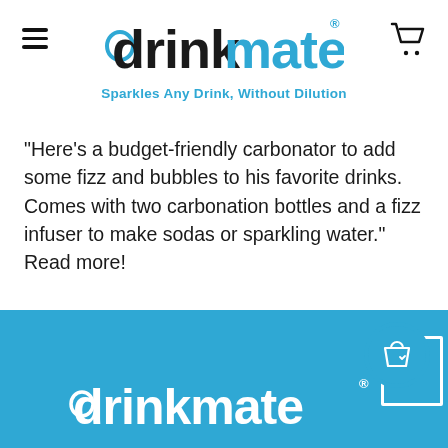drinkmate® — Sparkles Any Drink, Without Dilution
"Here's a budget-friendly carbonator to add some fizz and bubbles to his favorite drinks. Comes with two carbonation bottles and a fizz infuser to make sodas or sparkling water." Read more!
Read more →
[Figure (logo): drinkmate logo repeated at bottom of page in white on blue background]